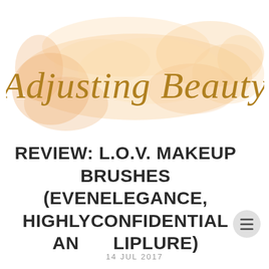[Figure (logo): Adjusting Beauty blog logo with watercolor peach/cream floral background and gold script text reading 'Adjusting Beauty']
REVIEW: L.O.V. MAKEUP BRUSHES (EVENELEGANCE, HIGHLYCONFIDENTIAL AN LIPLURE)
14 JUL 2017